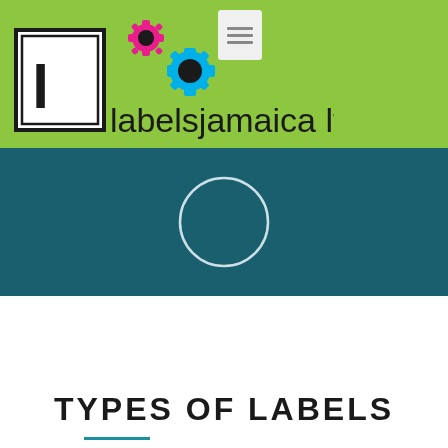[Figure (logo): Labels Jamaica Ltd. logo with gear icons and 'lj' monogram on green background]
[Figure (other): Teal/dark blue band with a white circle outline in the center, resembling a loading spinner]
TYPES OF LABELS